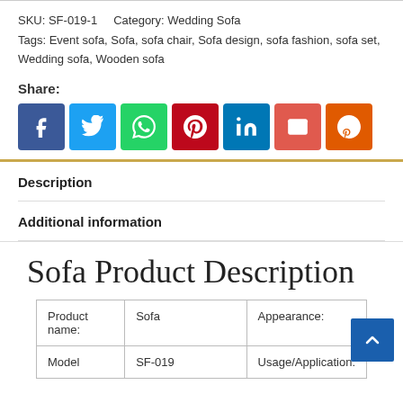SKU: SF-019-1    Category: Wedding Sofa
Tags: Event sofa, Sofa, sofa chair, Sofa design, sofa fashion, sofa set, Wedding sofa, Wooden sofa
Share:
[Figure (infographic): Social share buttons: Facebook (blue), Twitter (light blue), WhatsApp (green), Pinterest (dark red), LinkedIn (blue), Email (red-orange), Reddit (orange)]
Description
Additional information
Sofa Product Description
| Product name: | Sofa | Appearance: |
| --- | --- | --- |
| Model | SF-019 | Usage/Application: |